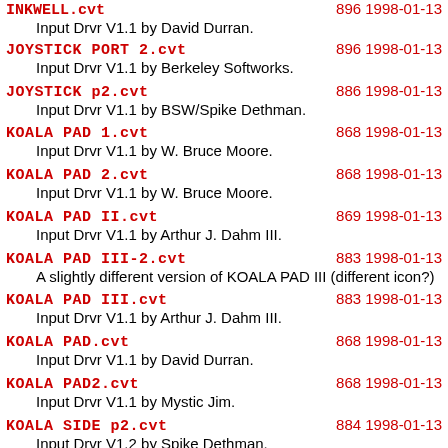INKWELL.cvt  896 1998-01-13
    Input Drvr V1.1 by David Durran.
JOYSTICK PORT 2.cvt  896 1998-01-13
    Input Drvr V1.1 by Berkeley Softworks.
JOYSTICK p2.cvt  886 1998-01-13
    Input Drvr V1.1 by BSW/Spike Dethman.
KOALA PAD 1.cvt  868 1998-01-13
    Input Drvr V1.1 by W. Bruce Moore.
KOALA PAD 2.cvt  868 1998-01-13
    Input Drvr V1.1 by W. Bruce Moore.
KOALA PAD II.cvt  869 1998-01-13
    Input Drvr V1.1 by Arthur J. Dahm III.
KOALA PAD III-2.cvt  883 1998-01-13
    A slightly different version of KOALA PAD III (different icon?)
KOALA PAD III.cvt  883 1998-01-13
    Input Drvr V1.1 by Arthur J. Dahm III.
KOALA PAD.cvt  868 1998-01-13
    Input Drvr V1.1 by David Durran.
KOALA PAD2.cvt  868 1998-01-13
    Input Drvr V1.1 by Mystic Jim.
KOALA SIDE p2.cvt  884 1998-01-13
    Input Drvr V1.2 by Spike Dethman.
KOALA SIDE.cvt  884 1998-01-13
    Input Drvr V1.2 by Spike Dethman.